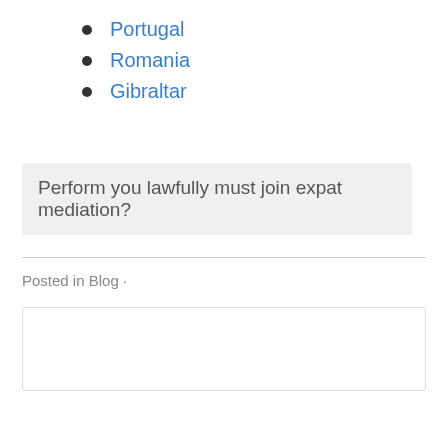Portugal
Romania
Gibraltar
Perform you lawfully must join expat mediation?
Posted in Blog ·